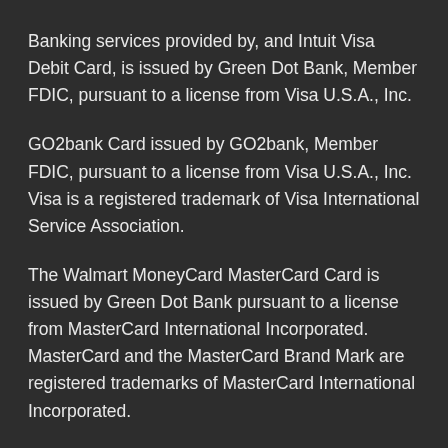Banking services provided by, and Intuit Visa Debit Card, is issued by Green Dot Bank, Member FDIC, pursuant to a license from Visa U.S.A., Inc.
GO2bank Card issued by GO2bank, Member FDIC, pursuant to a license from Visa U.S.A., Inc. Visa is a registered trademark of Visa International Service Association.
The Walmart MoneyCard MasterCard Card is issued by Green Dot Bank pursuant to a license from MasterCard International Incorporated. MasterCard and the MasterCard Brand Mark are registered trademarks of MasterCard International Incorporated.
The RushCard Prepaid Visa® Card is issued by MetaBank®, N.A., Member FDIC, pursuant to a license